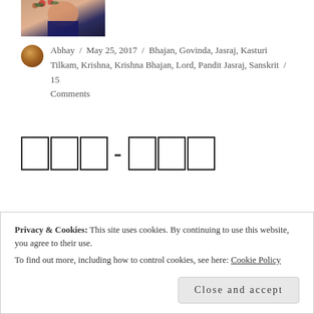[Figure (photo): Partial photo of a person (child), cut off at top of page]
Abhay / May 25, 2017 / Bhajan, Govinda, Jasraj, Kasturi Tilkam, Krishna, Krishna Bhajan, Lord, Pandit Jasraj, Sanskrit / 15 Comments
□□□-□□□
◇◇◇-◇◇◇
Privacy & Cookies: This site uses cookies. By continuing to use this website, you agree to their use. To find out more, including how to control cookies, see here: Cookie Policy
Close and accept